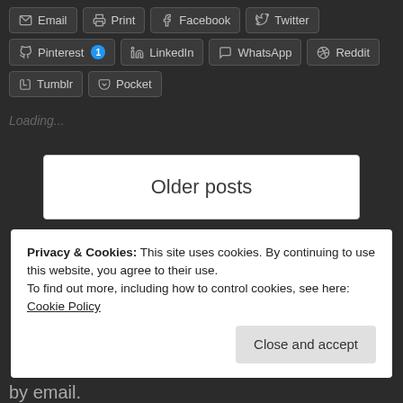Email Print Facebook Twitter Pinterest 1 LinkedIn WhatsApp Reddit Tumblr Pocket
Loading...
Older posts
Privacy & Cookies: This site uses cookies. By continuing to use this website, you agree to their use.
To find out more, including how to control cookies, see here: Cookie Policy
Close and accept
by email.